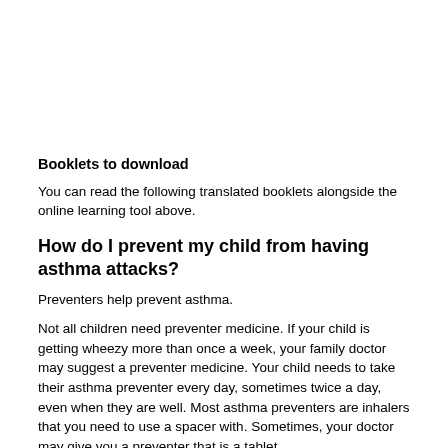Booklets to download
You can read the following translated booklets alongside the online learning tool above.
How do I prevent my child from having asthma attacks?
Preventers help prevent asthma.
Not all children need preventer medicine. If your child is getting wheezy more than once a week, your family doctor may suggest a preventer medicine. Your child needs to take their asthma preventer every day, sometimes twice a day, even when they are well. Most asthma preventers are inhalers that you need to use a spacer with. Sometimes, your doctor may give you a preventer that is a tablet.
How do I treat my child's asthma attack?